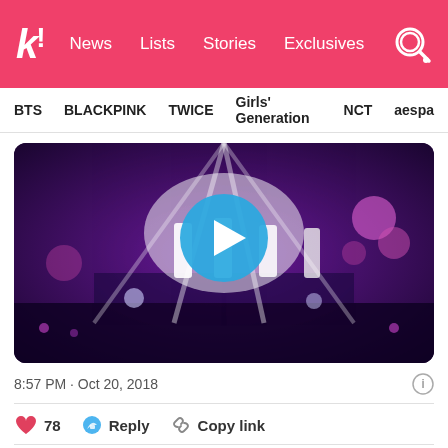k! News Lists Stories Exclusives
BTS  BLACKPINK  TWICE  Girls' Generation  NCT  aespa
[Figure (screenshot): Concert video thumbnail showing performers on stage with bright spotlights and purple lighting, with a blue play button circle in the center]
8:57 PM · Oct 20, 2018
❤ 78  Reply  Copy link
Explore what's happening on Twitter